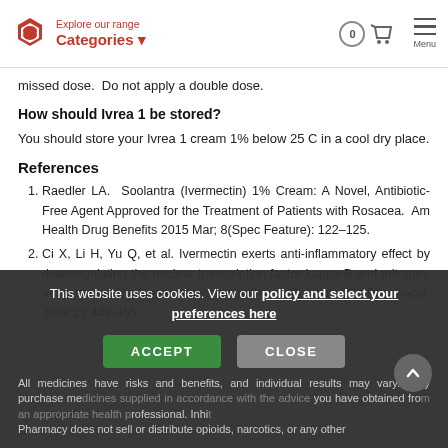Explore our range Categories
missed dose.  Do not apply a double dose.
How should Ivrea 1 be stored?
You should store your Ivrea 1 cream 1% below 25 C in a cool dry place.
References
Raedler LA.  Soolantra (Ivermectin) 1% Cream: A Novel, Antibiotic-Free Agent Approved for the Treatment of Patients with Rosacea.  Am Health Drug Benefits 2015 Mar; 8(Spec Feature): 122–125.
Ci X, Li H, Yu Q, et al. Ivermectin exerts anti-inflammatory effect by downregulating the nuclear transcription factor kappa-B and mitogen-activated protein kinase activation pathway. Fundam Clin Pharmacol. 2009;23:449-455
This website uses cookies. View our policy and select your preferences here
All medicines have risks and benefits, and individual results may vary. Only purchase medicines supplied in accordance with the advice you have obtained from an appropriate health professional. Inhale Pharmacy does not sell or distribute opioids, narcotics, or any other